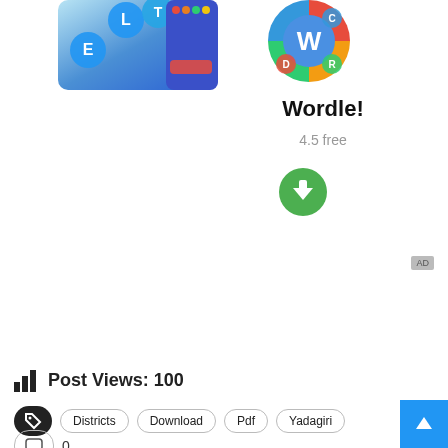[Figure (illustration): Left app screenshot with colorful letter bubbles and blue/orange keyboard UI]
[Figure (illustration): Wordle app icon — circular with colorful segments and W in center]
Wordle!
4.5 free
[Figure (other): Green circular download button with white downward arrow]
AD
Post Views: 100
Districts  Download  Pdf  Yadagiri
0